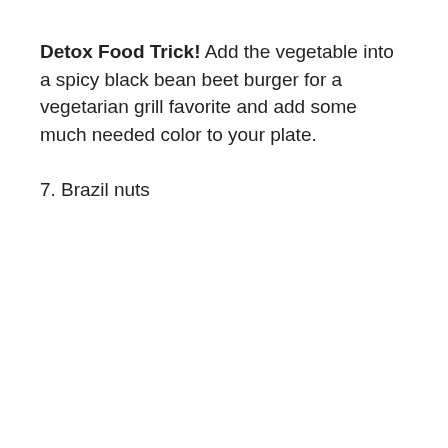Detox Food Trick! Add the vegetable into a spicy black bean beet burger for a vegetarian grill favorite and add some much needed color to your plate.
7. Brazil nuts